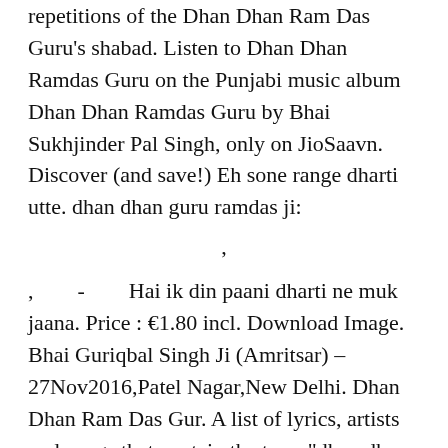repetitions of the Dhan Dhan Ram Das Guru's shabad. Listen to Dhan Dhan Ramdas Guru on the Punjabi music album Dhan Dhan Ramdas Guru by Bhai Sukhjinder Pal Singh, only on JioSaavn. Discover (and save!) Eh sone range dharti utte. dhan dhan guru ramdas ji:
'
,        -        Hai ik din paani dharti ne muk jaana. Price : €1.80 incl. Download Image. Bhai Guriqbal Singh Ji (Amritsar) – 27Nov2016,Patel Nagar,New Delhi. Dhan Dhan Ram Das Gur. A list of lyrics, artists and songs that contain the term "dhan dhan ram das guru by gurudass" - from the Lyrics.com website. Guru Ramdas Ji Guru Arjan